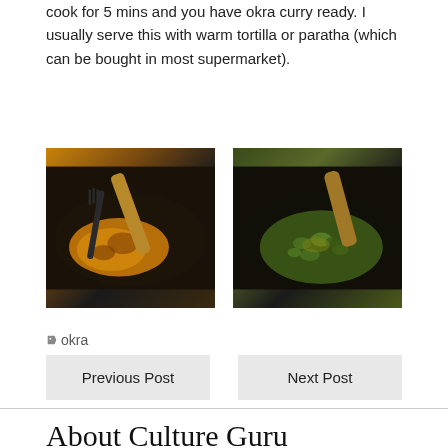cook for 5 mins and you have okra curry ready. I usually serve this with warm tortilla or paratha (which can be bought in most supermarket).
[Figure (photo): Photo of a pan with orange/yellow curry paste being stirred with a wooden spoon and fork]
[Figure (photo): Photo of a pan with green okra curry being stirred with a wooden spoon]
okra
Previous Post
Next Post
About Culture Guru
Culture guru is an India-focussed expert for